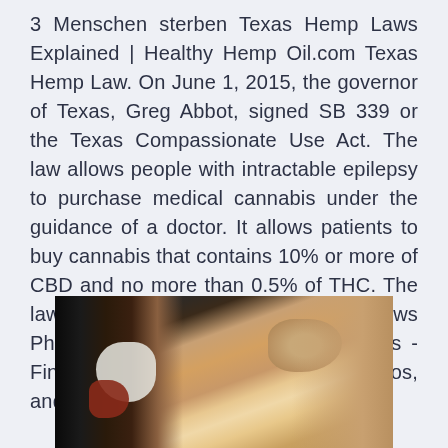3 Menschen sterben Texas Hemp Laws Explained | Healthy Hemp Oil.com Texas Hemp Law. On June 1, 2015, the governor of Texas, Greg Abbot, signed SB 339 or the Texas Compassionate Use Act. The law allows people with intractable epilepsy to purchase medical cannabis under the guidance of a doctor. It allows patients to buy cannabis that contains 10% or more of CBD and no more than 0.5% of THC. The law authorizes U.S. News: Breaking News Photos, & Videos on the United States - Find the latest U.S. news stories, photos, and videos on NBCNews.com.
[Figure (photo): Close-up photo of a dog or dogs, showing dark fur on the left side and tan/brown fur filling most of the frame, with a white patch and a red collar visible.]